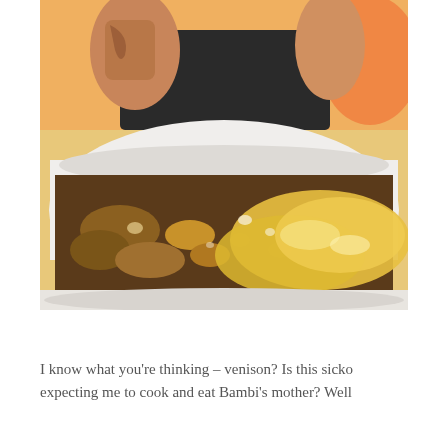[Figure (photo): A close-up photo of a casserole dish containing what appears to be a venison dish with melted cheese on top and vegetables visible underneath, with a person with tattoos partially visible in the background above the dish.]
I know what you're thinking – venison? Is this sicko expecting me to cook and eat Bambi's mother? Well